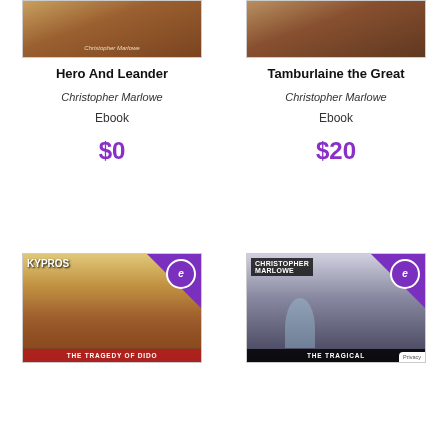[Figure (photo): Book cover of Hero And Leander by Christopher Marlowe, top portion visible showing reddish-brown illustrated cover]
Hero And Leander
Christopher Marlowe
Ebook
$0
[Figure (photo): Book cover of Tamburlaine the Great by Christopher Marlowe, top portion visible]
Tamburlaine the Great
Christopher Marlowe
Ebook
$20
[Figure (photo): Book cover of The Tragedy of Dido with KYPROS text visible, purple ebook badge in corner, classical painting style cover]
[Figure (photo): Book cover of The Tragical History with Christopher Marlowe name, purple ebook badge in corner, gothic architectural interior painting style cover]